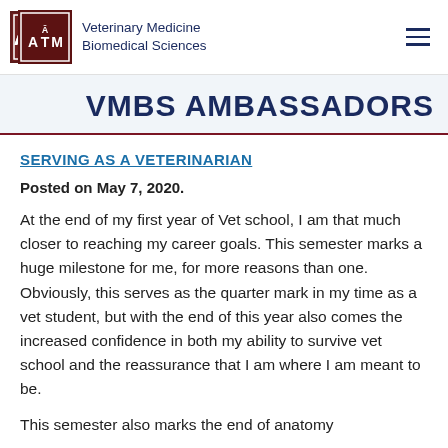Veterinary Medicine Biomedical Sciences
VMBS AMBASSADORS
SERVING AS A VETERINARIAN
Posted on May 7, 2020.
At the end of my first year of Vet school, I am that much closer to reaching my career goals. This semester marks a huge milestone for me, for more reasons than one. Obviously, this serves as the quarter mark in my time as a vet student, but with the end of this year also comes the increased confidence in both my ability to survive vet school and the reassurance that I am where I am meant to be.
This semester also marks the end of anatomy